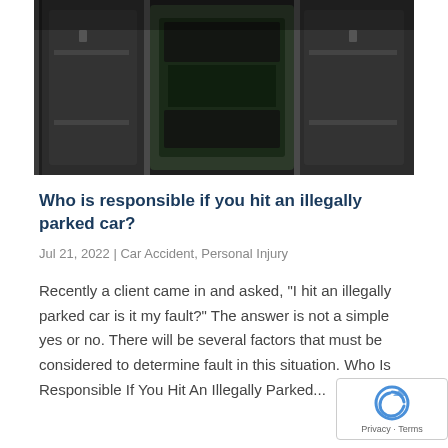[Figure (photo): Aerial/top-down view of cars parked in a parking lot or road, dark toned image showing car rooftops and parking spaces]
Who is responsible if you hit an illegally parked car?
Jul 21, 2022  |  Car Accident, Personal Injury
Recently a client came in and asked, "I hit an illegally parked car is it my fault?" The answer is not a simple yes or no. There will be several factors that must be considered to determine fault in this situation. Who Is Responsible If You Hit An Illegally Parked...